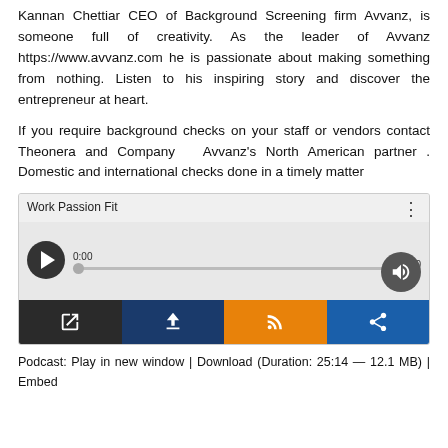Kannan Chettiar CEO of Background Screening firm Avvanz, is someone full of creativity. As the leader of Avvanz https://www.avvanz.com he is passionate about making something from nothing. Listen to his inspiring story and discover the entrepreneur at heart.
If you require background checks on your staff or vendors contact Theonera and Company  Avvanz's North American partner . Domestic and international checks done in a timely matter
[Figure (screenshot): Audio player widget titled 'Work Passion Fit' with play button, progress bar showing 0:00 time, volume control, and four action buttons: open in new window (dark), download (navy), RSS/subscribe (orange), and share (blue).]
Podcast: Play in new window | Download (Duration: 25:14 — 12.1 MB) | Embed